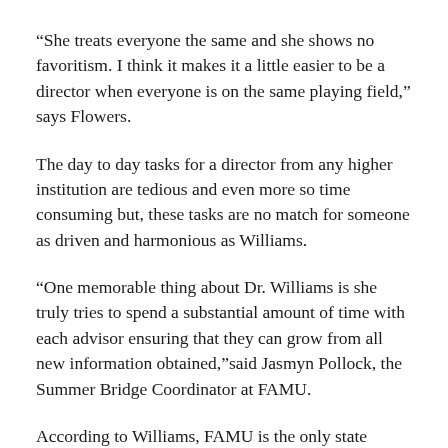“She treats everyone the same and she shows no favoritism. I think it makes it a little easier to be a director when everyone is on the same playing field,” says Flowers.
The day to day tasks for a director from any higher institution are tedious and even more so time consuming but, these tasks are no match for someone as driven and harmonious as Williams.
“One memorable thing about Dr. Williams is she truly tries to spend a substantial amount of time with each advisor ensuring that they can grow from all new information obtained,”said Jasmyn Pollock, the Summer Bridge Coordinator at FAMU.
According to Williams, FAMU is the only state university in Florida that can offer developmental studies courses.